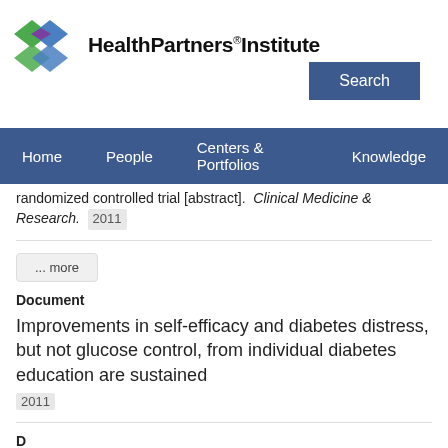HealthPartners Institute
randomized controlled trial [abstract]. Clinical Medicine & Research. 2011
... more
Document
Improvements in self-efficacy and diabetes distress, but not glucose control, from individual diabetes education are sustained 2011